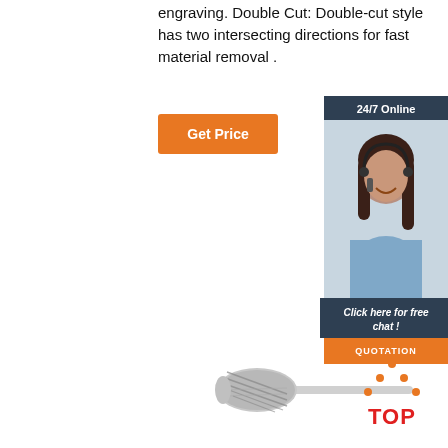engraving. Double Cut: Double-cut style has two intersecting directions for fast material removal .
[Figure (other): Orange 'Get Price' button]
[Figure (infographic): 24/7 Online customer service sidebar with photo of woman with headset, 'Click here for free chat!' text, and orange QUOTATION button]
[Figure (photo): Carbide rotary burr tool - tapered shape with shank]
[Figure (logo): TOP badge with orange dots forming triangle above bold red TOP text]